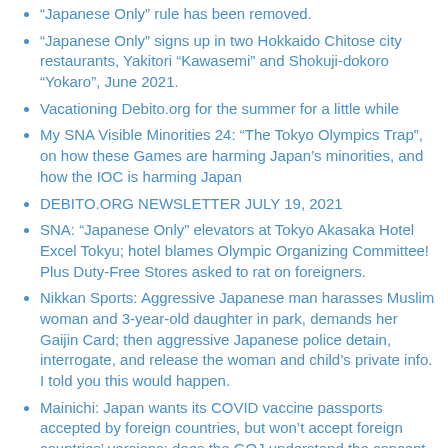“Japanese Only” rule has been removed.
“Japanese Only” signs up in two Hokkaido Chitose city restaurants, Yakitori “Kawasemi” and Shokuji-dokoro “Yokaro”, June 2021.
Vacationing Debito.org for the summer for a little while
My SNA Visible Minorities 24: “The Tokyo Olympics Trap”, on how these Games are harming Japan’s minorities, and how the IOC is harming Japan
DEBITO.ORG NEWSLETTER JULY 19, 2021
SNA: “Japanese Only” elevators at Tokyo Akasaka Hotel Excel Tokyu; hotel blames Olympic Organizing Committee! Plus Duty-Free Stores asked to rat on foreigners.
Nikkan Sports: Aggressive Japanese man harasses Muslim woman and 3-year-old daughter in park, demands her Gaijin Card; then aggressive Japanese police detain, interrogate, and release the woman and child’s private info. I told you this would happen.
Mainichi: Japan wants its COVID vaccine passports accepted by foreign countries, but won’t accept foreign countries’ versions; does the GOJ understand the concept of comity?
Japan’s “Gaijin Tank” Immigration Detention Centers: The Death of Sri Lankan Widow Sandamali highlights...